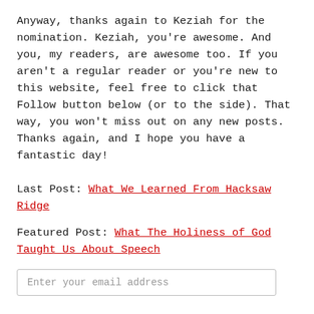Anyway, thanks again to Keziah for the nomination. Keziah, you're awesome. And you, my readers, are awesome too. If you aren't a regular reader or you're new to this website, feel free to click that Follow button below (or to the side). That way, you won't miss out on any new posts. Thanks again, and I hope you have a fantastic day!
Last Post: What We Learned From Hacksaw Ridge
Featured Post: What The Holiness of God Taught Us About Speech
Enter your email address